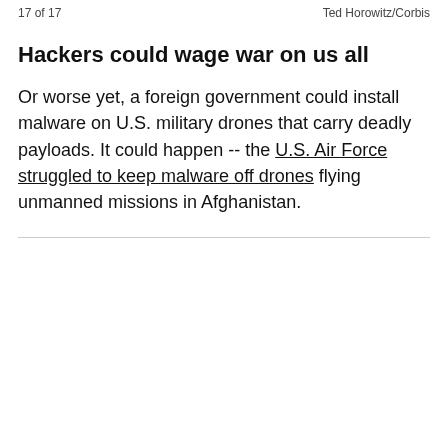17 of 17   Ted Horowitz/Corbis
Hackers could wage war on us all
Or worse yet, a foreign government could install malware on U.S. military drones that carry deadly payloads. It could happen -- the U.S. Air Force struggled to keep malware off drones flying unmanned missions in Afghanistan.